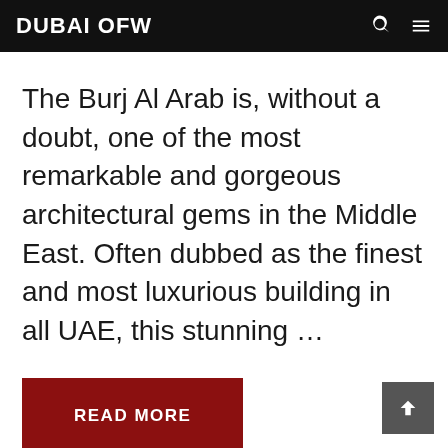DUBAI OFW
The Burj Al Arab is, without a doubt, one of the most remarkable and gorgeous architectural gems in the Middle East. Often dubbed as the finest and most luxurious building in all UAE, this stunning …
READ MORE